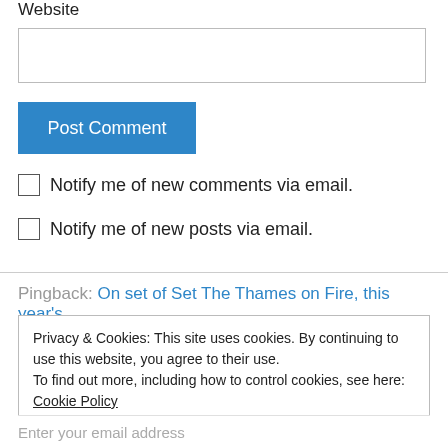Website
Post Comment
Notify me of new comments via email.
Notify me of new posts via email.
Pingback: On set of Set The Thames on Fire, this year's
Privacy & Cookies: This site uses cookies. By continuing to use this website, you agree to their use.
To find out more, including how to control cookies, see here: Cookie Policy
Close and accept
Enter your email address